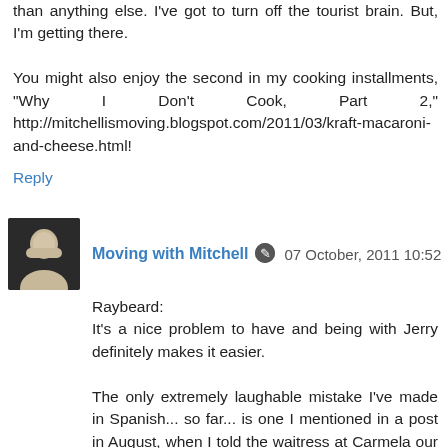than anything else. I've got to turn off the tourist brain. But, I'm getting there.

You might also enjoy the second in my cooking installments, "Why I Don't Cook, Part 2," http://mitchellismoving.blogspot.com/2011/03/kraft-macaroni-and-cheese.html!
Reply
Moving with Mitchell  07 October, 2011 10:52
Raybeard:
It's a nice problem to have and being with Jerry definitely makes it easier.

The only extremely laughable mistake I've made in Spanish... so far... is one I mentioned in a post in August, when I told the waitress at Carmela our furniture had been delivered by IKEA but our apartment was at that time filled with boxes. I said "cojones" instead of "cajas." So, our apartment wasn't filled with boxes; it was filled with